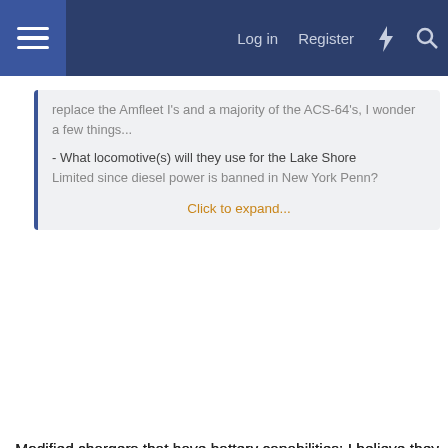Log in   Register
replace the Amfleet I's and a majority of the ACS-64's, I wonder a few things...

- What locomotive(s) will they use for the Lake Shore Limited since diesel power is banned in New York Penn?

Click to expand...
-Modified chargers that have battery capabilities; I believe they will run normally when out and with battery power when entering/exiting NYP.

-No idea, the order for the ICT's are for intercity trains only. LD replacements won't be ordered for a few years AFAIK.

-I'm not sure why they wouldn't be able to. They won't though (at least not anytime soon), whatever replaced VI's and Amfleets will operate with VII's. Many on here have speculated a venture-type car though.